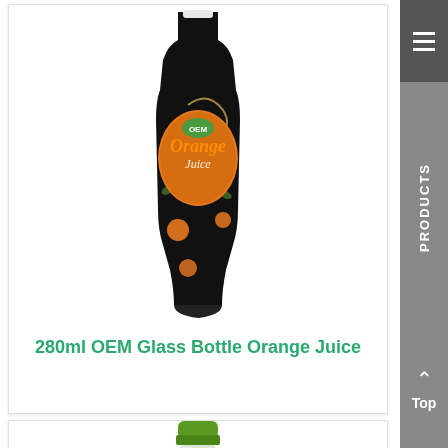[Figure (photo): Black decorative glass bottle of OEM Orange Juice with orange fruits and swirl patterns on label]
280ml OEM Glass Bottle Orange Juice
[Figure (photo): Partial view of a glass bottle with green cap, second product]